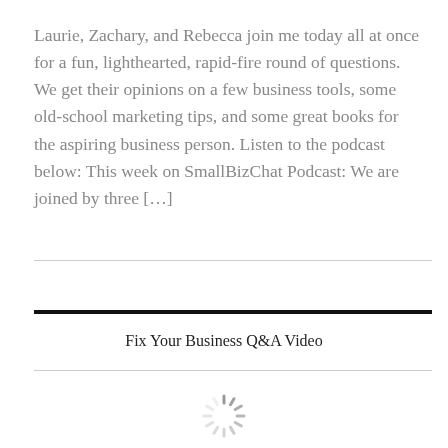Laurie, Zachary, and Rebecca join me today all at once for a fun, lighthearted, rapid-fire round of questions. We get their opinions on a few business tools, some old-school marketing tips, and some great books for the aspiring business person. Listen to the podcast below: This week on SmallBizChat Podcast: We are joined by three […]
Fix Your Business Q&A Video
[Figure (other): Loading spinner icon indicating a video or content is loading]